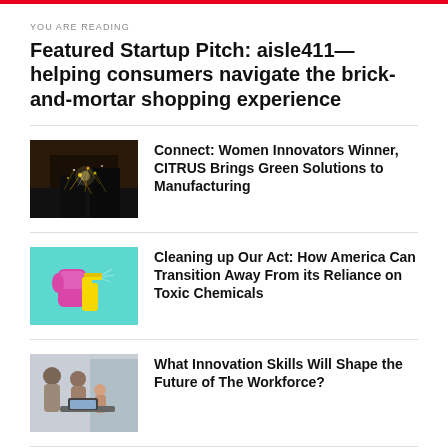YOU ARE READING
Featured Startup Pitch: aisle411—helping consumers navigate the brick-and-mortar shopping experience
[Figure (photo): Sparks flying in a manufacturing/industrial setting]
Connect: Women Innovators Winner, CITRUS Brings Green Solutions to Manufacturing
[Figure (photo): Hand in pink glove holding a yellow spray bottle against a teal background]
Cleaning up Our Act: How America Can Transition Away From its Reliance on Toxic Chemicals
[Figure (photo): Group of people including adults and a child looking at a laptop]
What Innovation Skills Will Shape the Future of The Workforce?
[Figure (photo): Damaged house, climate disaster scene]
How One Climate Disaster Relief Insurance Startup Is Creating a Fairer Way to